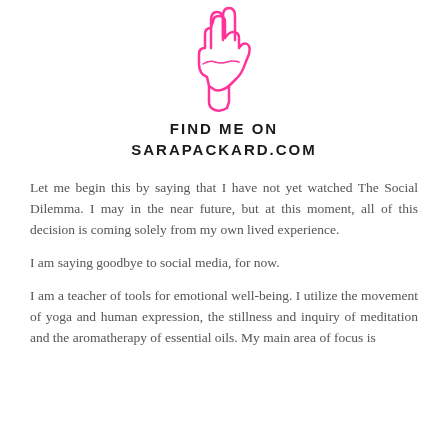[Figure (illustration): Pink outline illustration of a hand making a peace sign gesture]
FIND ME ON
SARAPACKARD.COM
Let me begin this by saying that I have not yet watched The Social Dilemma.  I may in the near future, but at this moment, all of this decision is coming solely from my own lived experience.
I am saying goodbye to social media, for now.
I am a teacher of tools for emotional well-being.  I utilize the movement of yoga and human expression, the stillness and inquiry of meditation and the aromatherapy of essential oils.  My main area of focus is